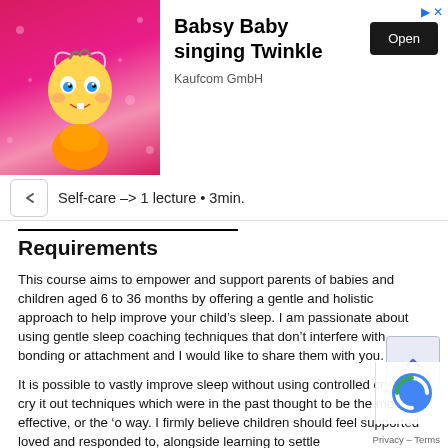[Figure (screenshot): Advertisement banner for 'Babsy Baby singing Twinkle' app by Kaufcom GmbH, showing a cartoon baby character on a pink background with an Open button]
Self-care -> 1 lecture • 3min.
Requirements
This course aims to empower and support parents of babies and children aged 6 to 36 months by offering a gentle and holistic approach to help improve your child's sleep. I am passionate about using gentle sleep coaching techniques that don't interfere with bonding or attachment and I would like to share them with you.
It is possible to vastly improve sleep without using controlled crying or cry it out techniques which were in the past thought to be the most effective, or the 'o way. I firmly believe children should feel supported loved and responded to, alongside learning to settle